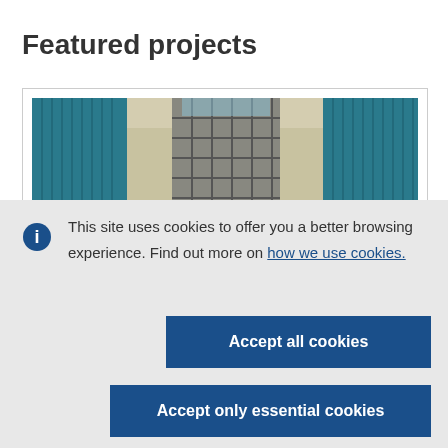Featured projects
[Figure (photo): Photograph of a modern building exterior with teal/blue glass panels and a central entrance with horizontal metal grid, viewed from below looking up.]
This site uses cookies to offer you a better browsing experience. Find out more on how we use cookies.
Accept all cookies
Accept only essential cookies